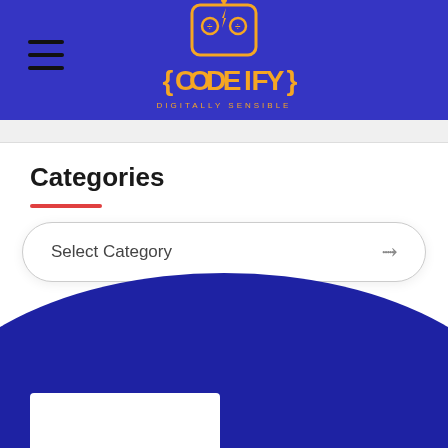[Figure (logo): Codeify logo with robot glasses icon in orange, text '{CODEIFY}' in orange, subtitle 'DIGITALLY SENSIBLE' on blue background]
Categories
[Figure (screenshot): Dropdown selector with label 'Select Category' and chevron arrow, with blue ellipse shape at bottom of page]